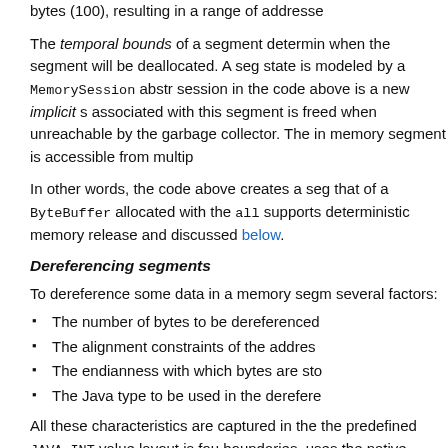bytes (100), resulting in a range of addresses
The temporal bounds of a segment determines when the segment will be deallocated. A segment state is modeled by a MemorySession abstraction. The session in the code above is a new implicit session; memory associated with this segment is freed when the segment becomes unreachable by the garbage collector. The implicit session's memory segment is accessible from multiple threads.
In other words, the code above creates a segment similar to that of a ByteBuffer allocated with the allocateDirect method, but supports deterministic memory release and other features, as discussed below.
Dereferencing segments
To dereference some data in a memory segment depends on several factors:
The number of bytes to be dereferenced
The alignment constraints of the address
The endianness with which bytes are stored
The Java type to be used in the dereference operation
All these characteristics are captured in the ValueLayout; the predefined JAVA_INT value layout is four bytes, aligned at boundaries, uses the native platform endianness.